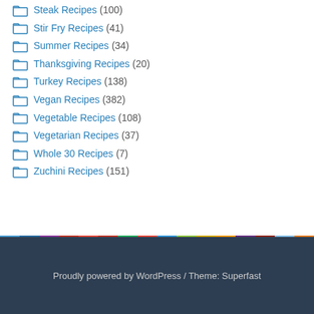Steak Recipes (100)
Stir Fry Recipes (41)
Summer Recipes (34)
Thanksgiving Recipes (20)
Turkey Recipes (138)
Vegan Recipes (382)
Vegetable Recipes (108)
Vegetarian Recipes (37)
Whole 30 Recipes (7)
Zuchini Recipes (151)
Proudly powered by WordPress / Theme: Superfast